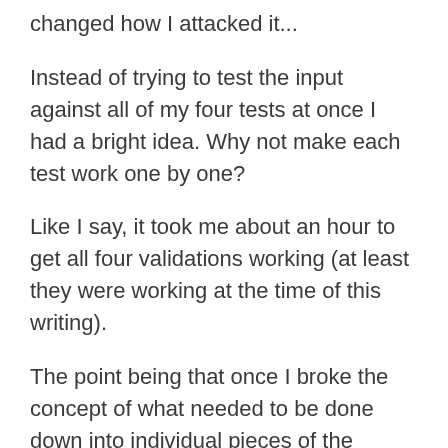changed how I attacked it...
Instead of trying to test the input against all of my four tests at once I had a bright idea. Why not make each test work one by one?
Like I say, it took me about an hour to get all four validations working (at least they were working at the time of this writing).
The point being that once I broke the concept of what needed to be done down into individual pieces of the puzzle (each separate validation) it wasn't so bad. This allowed me to figure out what exactly was causing my errors to show up.
And once again... starting with the least common denominator of what needed to be accomplished did me from then on...